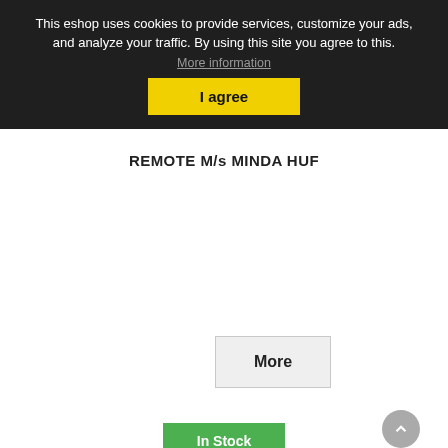This eshop uses cookies to provide services, customize your ads, and analyze your traffic. By using this site you agree to this.
More information
I agree
REMOTE M/s MINDA HUF
More
In Stock
Add to Wishlist
[Figure (photo): Product photo of a black coiled/braided cable or wire assembly, possibly a remote or sensor cable, shown against a neutral background.]